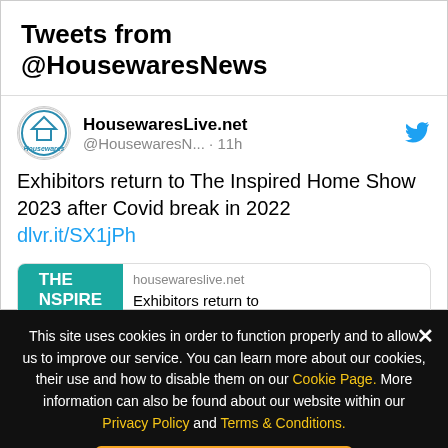Tweets from @HousewaresNews
HousewaresLive.net @HousewaresN... · 11h
Exhibitors return to The Inspired Home Show 2023 after Covid break in 2022 dlvr.it/SX1jPh
[Figure (screenshot): Article preview card showing housewareslive.net with teal image reading THE INSPIRE HOME... and text 'Exhibitors return to The Inspired Home ...']
This site uses cookies in order to function properly and to allow us to improve our service. You can learn more about our cookies, their use and how to disable them on our Cookie Page. More information can also be found about our website within our Privacy Policy and Terms & Conditions.
Remove this message